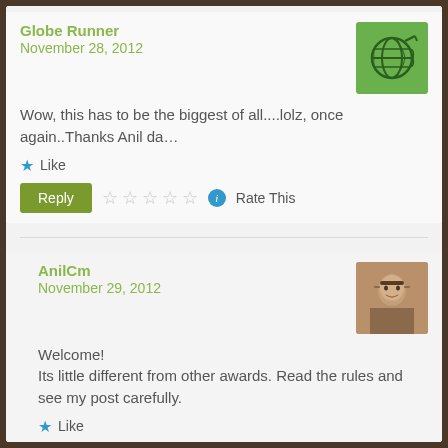Globe Runner
November 28, 2012
Wow, this has to be the biggest of all....lolz, once again..Thanks Anil da...
★ Like
Reply  ☆☆☆☆☆ ⓘ Rate This
AnilCm
November 29, 2012
Welcome!
Its little different from other awards. Read the rules and see my post carefully.
★ Like
Reply  ☆☆☆☆☆ ⓘ Rate This